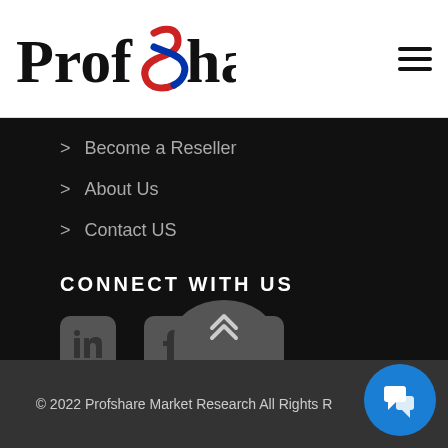[Figure (logo): ProfShare logo with stylized S spiral in red and blue]
> Become a Reseller
> About Us
> Contact US
CONNECT WITH US
[Figure (illustration): Social media icons: LinkedIn, Facebook, Twitter]
© 2022 Profshare Market Research All Rights Reserved